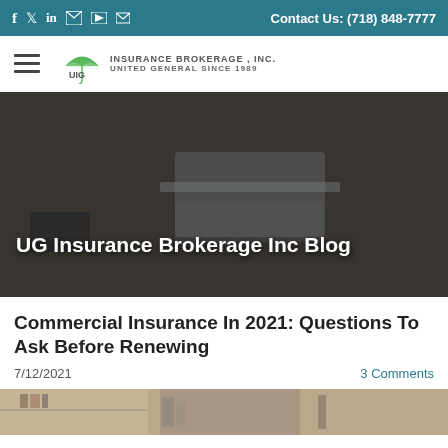f  Twitter  in  YouTube  Mail  |  Contact Us: (718) 848-7777
[Figure (logo): UG Insurance Brokerage Inc logo with green umbrella icon and text 'INSURANCE BROKERAGE, INC. UNITED GENERAL SINCE 1989']
[Figure (photo): Person typing on laptop on a wooden desk with a smartphone and other items. Dark overlay. Text overlay: UG Insurance Brokerage Inc Blog]
UG Insurance Brokerage Inc Blog
Commercial Insurance In 2021: Questions To Ask Before Renewing
7/12/2021
3 Comments
[Figure (photo): Partial bottom image strip showing shelves or office items]